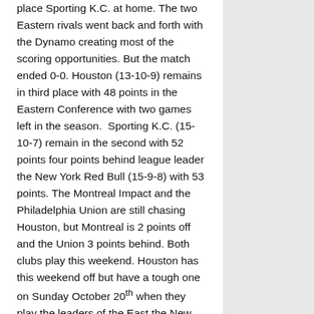place Sporting K.C. at home. The two Eastern rivals went back and forth with the Dynamo creating most of the scoring opportunities. But the match ended 0-0. Houston (13-10-9) remains in third place with 48 points in the Eastern Conference with two games left in the season.  Sporting K.C. (15-10-7) remain in the second with 52 points four points behind league leader the New York Red Bull (15-9-8) with 53 points. The Montreal Impact and the Philadelphia Union are still chasing Houston, but Montreal is 2 points off and the Union 3 points behind. Both clubs play this weekend. Houston has this weekend off but have a tough one on Sunday October 20th when they play the leaders of the East the New York Red Bulls. Match time is 2pm.
Leon casino, For some reason, Major League Soccer does not recognize the international World Cup Qualifying break. Montreal will play New England this weekend; Philadelphia will also play DC United. In the western conference